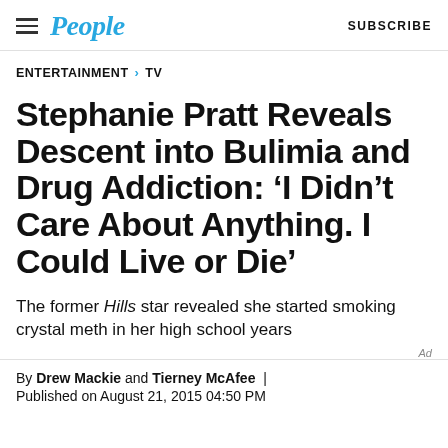People | SUBSCRIBE
ENTERTAINMENT > TV
Stephanie Pratt Reveals Descent into Bulimia and Drug Addiction: ‘I Didn’t Care About Anything. I Could Live or Die’
The former Hills star revealed she started smoking crystal meth in her high school years
By Drew Mackie and Tierney McAfee
Published on August 21, 2015 04:50 PM